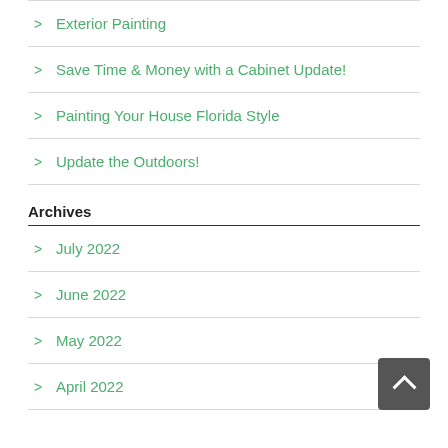Exterior Painting
Save Time & Money with a Cabinet Update!
Painting Your House Florida Style
Update the Outdoors!
Archives
July 2022
June 2022
May 2022
April 2022